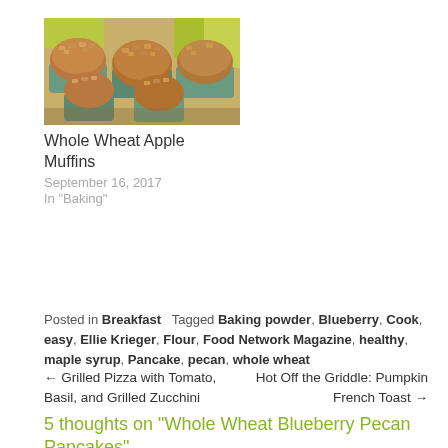[Figure (photo): Photo of whole wheat apple muffins in blue cupcake liners with crumbly topping, arranged on a surface]
Whole Wheat Apple Muffins
September 16, 2017
In "Baking"
Posted in Breakfast   Tagged Baking powder, Blueberry, Cook, easy, Ellie Krieger, Flour, Food Network Magazine, healthy, maple syrup, Pancake, pecan, whole wheat
← Grilled Pizza with Tomato, Basil, and Grilled Zucchini
Hot Off the Griddle: Pumpkin French Toast →
5 thoughts on "Whole Wheat Blueberry Pecan Pancakes"